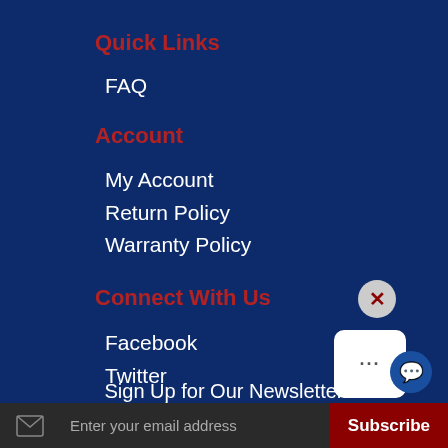Quick Links
FAQ
Account
My Account
Return Policy
Warranty Policy
Connect With Us
Facebook
Twitter
YouTube
Linkedin
Sign Up for Our Newsletter
Enter your email address
Subscribe